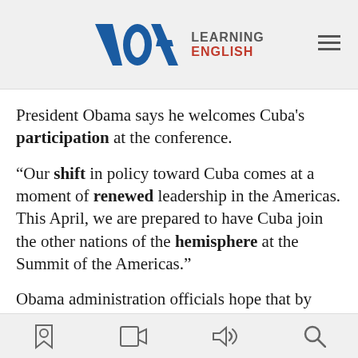VOA Learning English
President Obama says he welcomes Cuba’s participation at the conference.
“Our shift in policy toward Cuba comes at a moment of renewed leadership in the Americas. This April, we are prepared to have Cuba join the other nations of the hemisphere at the Summit of the Americas.”
Obama administration officials hope that by welcoming Cuba to the summit, the United States will rebuild its leadership role in Latin America. Experts say the U.S. position has suffered because of economic weakness and the area’s increasing involvement with China and
[navigation icons: bookmark, video, audio, search]